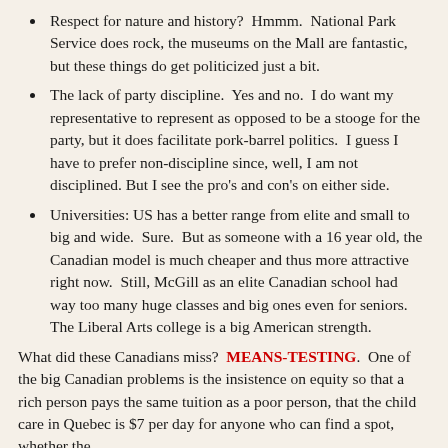Respect for nature and history?  Hmmm.  National Park Service does rock, the museums on the Mall are fantastic, but these things do get politicized just a bit.
The lack of party discipline.  Yes and no.  I do want my representative to represent as opposed to be a stooge for the party, but it does facilitate pork-barrel politics.  I guess I have to prefer non-discipline since, well, I am not disciplined. But I see the pro's and con's on either side.
Universities: US has a better range from elite and small to big and wide.  Sure.  But as someone with a 16 year old, the Canadian model is much cheaper and thus more attractive right now.  Still, McGill as an elite Canadian school had way too many huge classes and big ones even for seniors.  The Liberal Arts college is a big American strength.
What did these Canadians miss?  MEANS-TESTING.  One of the big Canadian problems is the insistence on equity so that a rich person pays the same tuition as a poor person, that the child care in Quebec is $7 per day for anyone who can find a spot, whether the